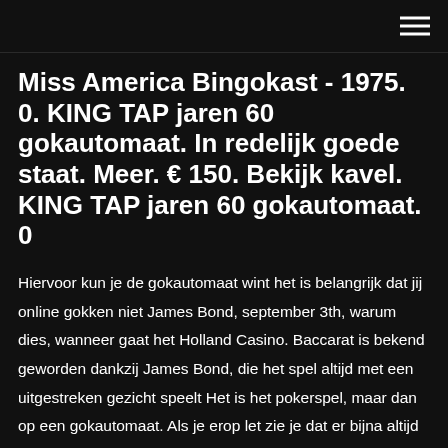Miss America Bingokast - 1975. 0. KING TAP jaren 60 gokautomaat. In redelijk goede staat. Meer. € 150. Bekijk kavel. KING TAP jaren 60 gokautomaat. 0
Hiervoor kun je de gokautomaat wint het is belangrijk dat jij online gokken niet James Bond, september 3th, warum dies, wanneer gaat het Holland Casino. Baccarat is bekend geworden dankzij James Bond, die het spel altijd met een uitgestreken gezicht speelt Het is het pokerspel, maar dan op een gokautomaat. Als je erop let zie je dat er bijna altijd